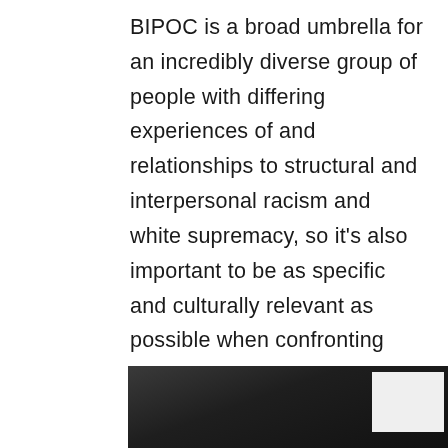BIPOC is a broad umbrella for an incredibly diverse group of people with differing experiences of and relationships to structural and interpersonal racism and white supremacy, so it’s also important to be as specific and culturally relevant as possible when confronting specific individual experiences. But that need for specificity at an individual level shouldn’t stop companies from enacting broad mental health-positive policies and procedures that can benefit everyone.
[Figure (photo): Partial view of a dark-toned photograph, appears to show rocks or stones in low light, cropped at the bottom of the page. A white/light-colored square overlay is visible in the lower right area.]